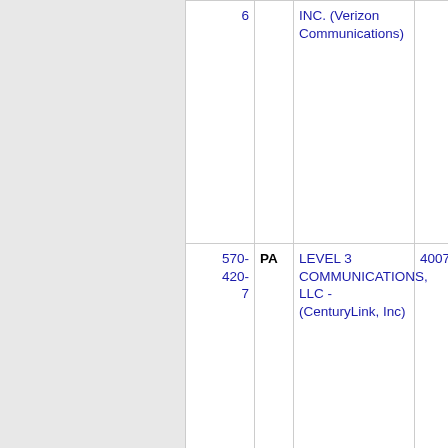| NXX | State | Carrier | OCN |
| --- | --- | --- | --- |
| 570-
420-
6 | PA | INC. (Verizon Communications) |  |
| 570-
420-
7 | PA | LEVEL 3 COMMUNICATIONS, LLC - (CenturyLink, Inc) | 4007 |
| 570-
420-
8 | PA | VERIZON PENNSYLVANIA, INC. (Verizon... | 9208 |